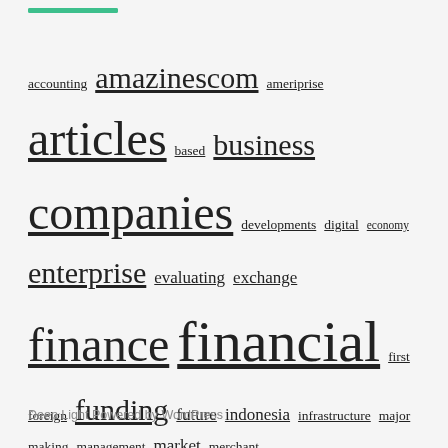[Figure (other): Green horizontal progress/accent bar at top of page]
accounting amazinescom ameriprise articles based business companies developments digital economy enterprise evaluating exchange finance financial first foreign funding future indonesia infrastructure major making management market merchant monetary money primarily providers quickbooks sector service services small smart software start state trade tragedy translation world worlds zambia
Deep Light Powered by WordPress